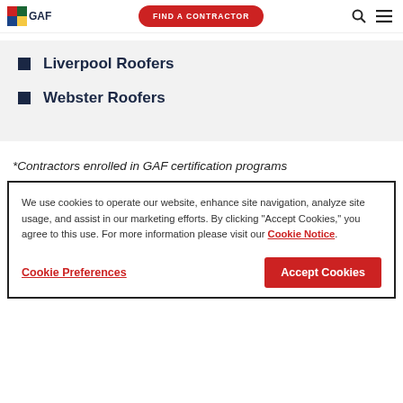GAF
Liverpool Roofers
Webster Roofers
*Contractors enrolled in GAF certification programs
We use cookies to operate our website, enhance site navigation, analyze site usage, and assist in our marketing efforts. By clicking "Accept Cookies," you agree to this use. For more information please visit our Cookie Notice.
Cookie Preferences
Accept Cookies